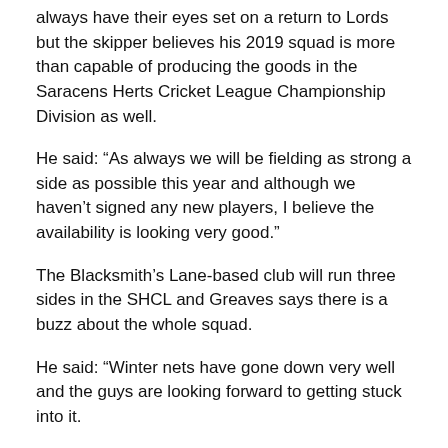always have their eyes set on a return to Lords but the skipper believes his 2019 squad is more than capable of producing the goods in the Saracens Herts Cricket League Championship Division as well.
He said: “As always we will be fielding as strong a side as possible this year and although we haven’t signed any new players, I believe the availability is looking very good.”
The Blacksmith’s Lane-based club will run three sides in the SHCL and Greaves says there is a buzz about the whole squad.
He said: “Winter nets have gone down very well and the guys are looking forward to getting stuck into it.
“We have retained all of our players over the winter, and with a couple of job changes, some of our members that only played a handful of games are now